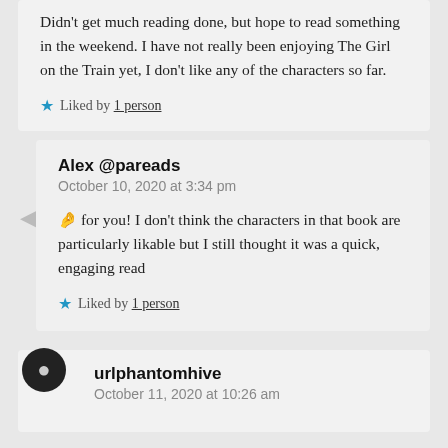Didn't get much reading done, but hope to read something in the weekend. I have not really been enjoying The Girl on the Train yet, I don't like any of the characters so far.
Liked by 1person
Alex @pareads
October 10, 2020 at 3:34 pm
🤌 for you! I don't think the characters in that book are particularly likable but I still thought it was a quick, engaging read
Liked by 1person
urlphantomhive
October 11, 2020 at 10:26 am